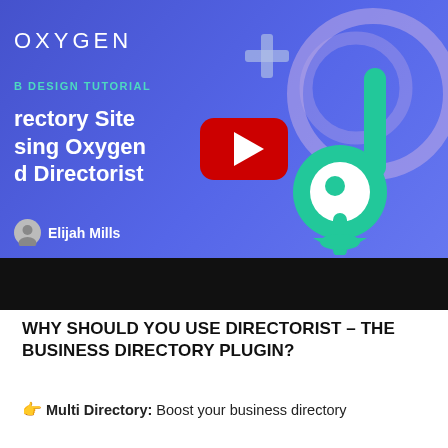[Figure (screenshot): YouTube video thumbnail for a web design tutorial about building a Directory Site using Oxygen and Directorist. Blue/purple gradient background with decorative circles, location pin icon, YouTube play button, text 'OXYGEN', 'WEB DESIGN TUTORIAL', 'Directory Site using Oxygen and Directorist', and author 'Elijah Mills'.]
WHY SHOULD YOU USE DIRECTORIST – THE BUSINESS DIRECTORY PLUGIN?
👉 Multi Directory: Boost your business directory